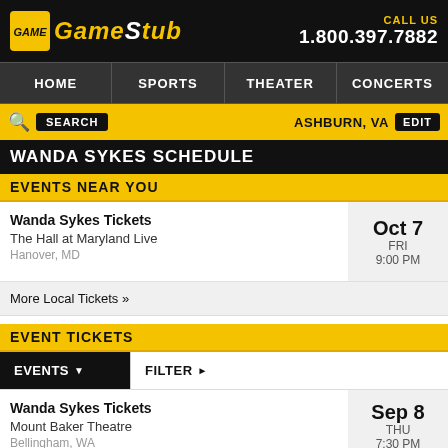GameStub - CALL US 1.800.397.7882
HOME | SPORTS | THEATER | CONCERTS
SEARCH | ASHBURN, VA | EDIT
WANDA SYKES SCHEDULE
EVENTS NEAR YOU
Wanda Sykes Tickets - The Hall at Maryland Live - Hanover, MD - Oct 7, FRI, 9:00 PM
More Local Tickets »
EVENT TICKETS
EVENTS ▼   FILTER ►
Wanda Sykes Tickets - Mount Baker Theatre - Bellingham, WA - Sep 8, THU, 7:30 PM